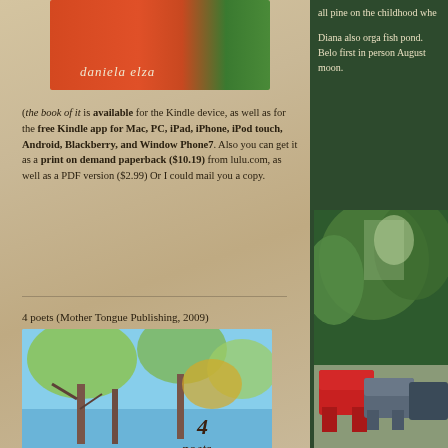[Figure (photo): Book cover with orange/coral and green sections, author name 'daniela elza' in italic]
(the book of it is available for the Kindle device, as well as for the free Kindle app for Mac, PC, iPad, iPhone, iPod touch, Android, Blackberry, and Window Phone7. Also you can get it as a print on demand paperback ($10.19) from lulu.com, as well as a PDF version ($2.99) Or I could mail you a copy.
all pine on the childhood whe
Diana also orga fish pond. Belo first in person August moon.
4 poets (Mother Tongue Publishing, 2009)
[Figure (photo): Book cover for '4 poets' showing trees and nature scene with watercolor style art]
[Figure (photo): Outdoor garden scene with red and blue Adirondack chairs among green trees]